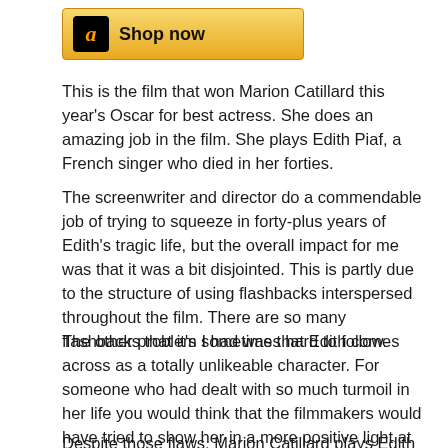[Figure (other): Amazon 'Shop now' button with black Amazon logo and gold/yellow gradient background]
This is the film that won Marion Catillard this year's Oscar for best actress. She does an amazing job in the film. She plays Edith Piaf, a French singer who died in her forties.
The screenwriter and director do a commendable job of trying to squeeze in forty-plus years of Edith's tragic life, but the overall impact for me was that it was a bit disjointed. This is partly due to the structure of using flashbacks interspersed throughout the film. There are so many flashbacks that it's sometimes hard to follow.
The other problem I had was that Edith comes across as a totally unlikeable character. For someone who had dealt with so much turmoil in her life you would think that the filmmakers would have tried to show her in a more positive light at least in a few scenes.
Despite those flaws, Marion Catillard plays Edith